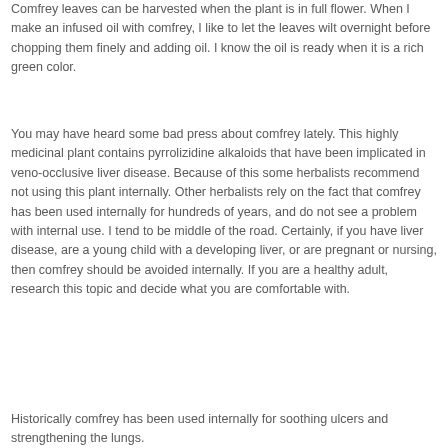Comfrey leaves can be harvested when the plant is in full flower. When I make an infused oil with comfrey, I like to let the leaves wilt overnight before chopping them finely and adding oil. I know the oil is ready when it is a rich green color.
You may have heard some bad press about comfrey lately. This highly medicinal plant contains pyrrolizidine alkaloids that have been implicated in veno-occlusive liver disease. Because of this some herbalists recommend not using this plant internally. Other herbalists rely on the fact that comfrey has been used internally for hundreds of years, and do not see a problem with internal use. I tend to be middle of the road. Certainly, if you have liver disease, are a young child with a developing liver, or are pregnant or nursing, then comfrey should be avoided internally. If you are a healthy adult, research this topic and decide what you are comfortable with.
Historically comfrey has been used internally for soothing ulcers and strengthening the lungs.